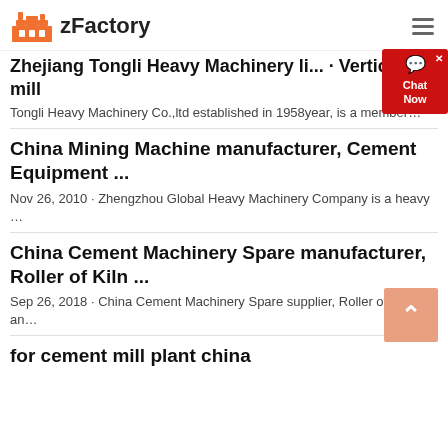zFactory
Zhejiang Tongli Heavy Machinery li... · Vertical mill
Tongli Heavy Machinery Co.,ltd established in 1958year, is a member...
China Mining Machine manufacturer, Cement Equipment ...
Nov 26, 2010 · Zhengzhou Global Heavy Machinery Company is a heavy ...
China Cement Machinery Spare manufacturer, Roller of Kiln ...
Sep 26, 2018 · China Cement Machinery Spare supplier, Roller of Kiln an...
for cement mill plant china